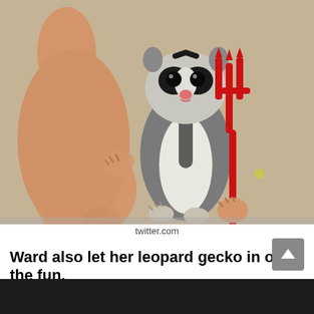[Figure (photo): A sugar glider being held in a human hand, holding a small red plastic devil trident/pitchfork. The animal has black and white markings on its face and grey fur. Background is a tan/beige carpet.]
twitter.com
Ward also let her leopard gecko in on the fun.
[Figure (screenshot): Partial dark screenshot visible at the very bottom of the page, cropped.]